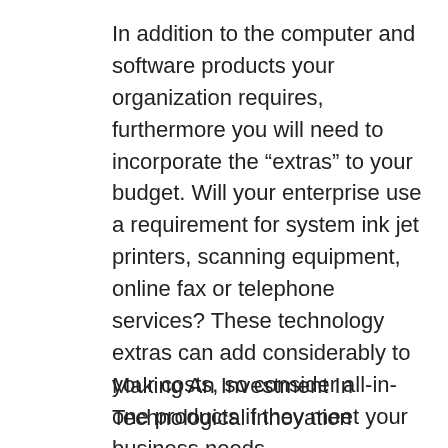In addition to the computer and software products your organization requires, furthermore you will need to incorporate the “extras” to your budget. Will your enterprise use a requirement for system ink jet printers, scanning equipment, online fax or telephone services? These technology extras can add considerably to your costs, so consider all-in-one products if they meet your business needs.
Making An Investment In Technological innovation